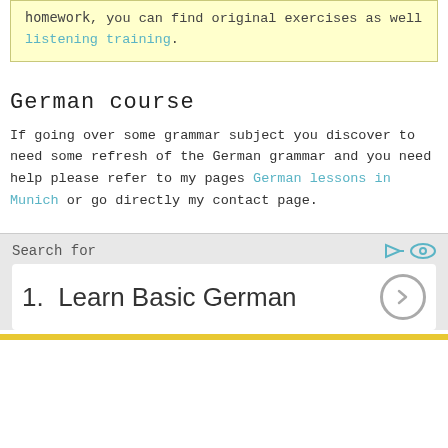homework, you can find original exercises as well listening training.
German course
If going over some grammar subject you discover to need some refresh of the German grammar and you need help please refer to my pages German lessons in Munich or go directly my contact page.
Search for
1.  Learn Basic German